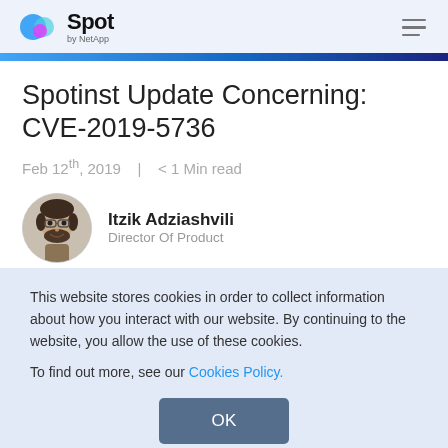Spot by NetApp
Spotinst Update Concerning: CVE-2019-5736
Feb 12th, 2019   |   < 1 Min read
Itzik Adziashvili
Director Of Product
This website stores cookies in order to collect information about how you interact with our website. By continuing to the website, you allow the use of these cookies.

To find out more, see our Cookies Policy.
OK